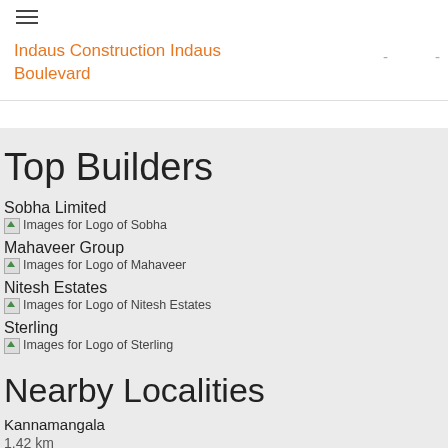Indaus Construction Indaus Boulevard
Top Builders
Sobha Limited
[Figure (logo): Images for Logo of Sobha]
Mahaveer Group
[Figure (logo): Images for Logo of Mahaveer]
Nitesh Estates
[Figure (logo): Images for Logo of Nitesh Estates]
Sterling
[Figure (logo): Images for Logo of Sterling]
Nearby Localities
Kannamangala
1.42 km